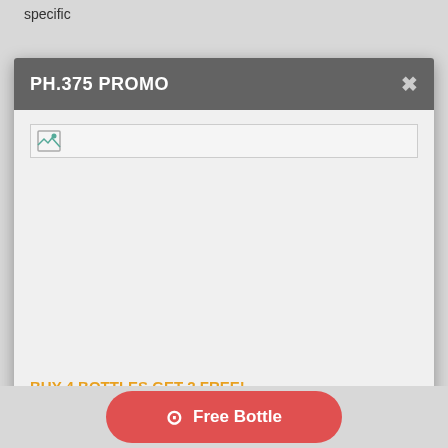specific
PH.375 PROMO
[Figure (illustration): Broken image placeholder icon in a light gray bordered rectangle]
BUY 4 BOTTLES GET 2 FREE!
Buy 4 bottles Ph.375, Get 2 bottles for FREE. Your total saving worth $191.75
VISIT OFFICIAL STORE
Free Bottle